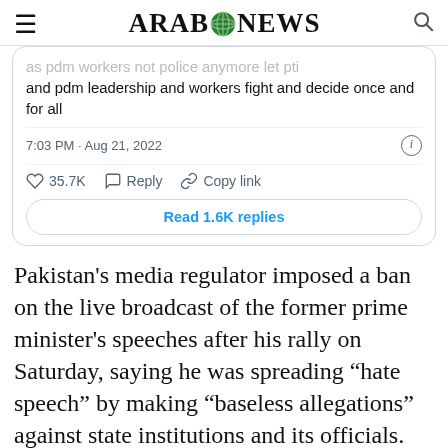ARAB NEWS
[Figure (screenshot): Embedded tweet screenshot showing partial tweet text: 'as pdm workers not police anymore let pti and pdm leadership and workers fight and decide once and for all', timestamp '7:03 PM · Aug 21, 2022', with 35.7K likes, Reply, Copy link actions, and a 'Read 1.6K replies' button.]
Pakistan's media regulator imposed a ban on the live broadcast of the former prime minister's speeches after his rally on Saturday, saying he was spreading “hate speech” by making “baseless allegations” against state institutions and its officials.
However, this did not deter him from accusing the military establishment from cracking down...